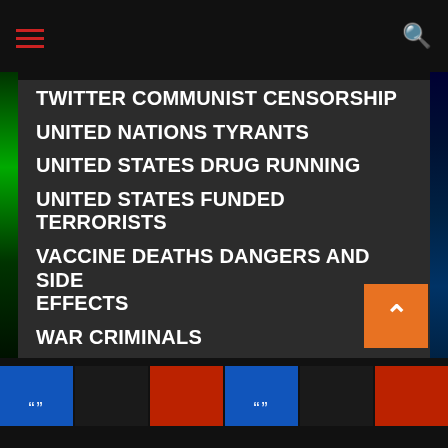[Figure (screenshot): Navigation top bar with hamburger menu icon (red lines) and search icon (red magnifying glass) on dark background]
TWITTER COMMUNIST CENSORSHIP
UNITED NATIONS TYRANTS
UNITED STATES DRUG RUNNING
UNITED STATES FUNDED TERRORISTS
VACCINE DEATHS DANGERS AND SIDE EFFECTS
WAR CRIMINALS
WHAT IN THE HELL IS THAT
WHITE GUILT AGENDA
WIKILEAKS/Julian Assange
WORLD RELIGION/WORSHIP OF AI COMPUTERS
YOUTUBE COMMUNIST CENSORSHIP
[Figure (screenshot): Bottom strip with thumbnail images showing people and colored backgrounds (blue, dark, red)]